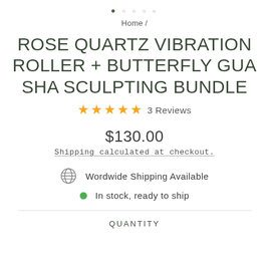● ○ ○ ○ ○
Home /
ROSE QUARTZ VIBRATION ROLLER + BUTTERFLY GUA SHA SCULPTING BUNDLE
★★★★★ 3 Reviews
$130.00
Shipping calculated at checkout.
Wordwide Shipping Available
In stock, ready to ship
QUANTITY